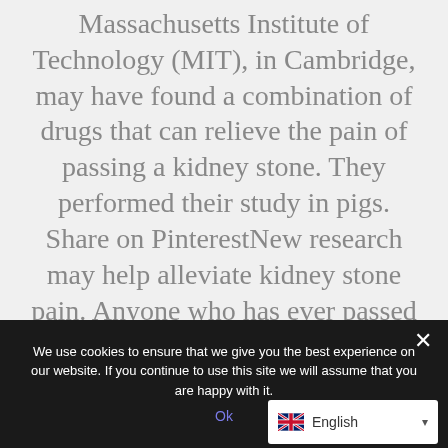Massachusetts Institute of Technology (MIT), in Cambridge, may have found a combination of drugs that can relieve the pain of passing a kidney stone. They performed their study in pigs. Share on PinterestNew research may help alleviate kidney stone pain. Anyone who has ever passed a kidney stone
We use cookies to ensure that we give you the best experience on our website. If you continue to use this site we will assume that you are happy with it.
Ok
English